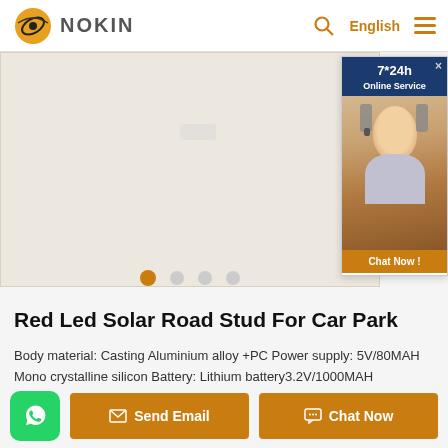NOKIN | English
[Figure (screenshot): Product image slider area with navigation dots (orange active dot and 3 grey dots), and online service chat popup on the right showing '7*24h Online Service' with a photo of a customer service agent and 'Chat Now!' button]
Red Led Solar Road Stud For Car Park
Body material: Casting Aluminium alloy +PC Power supply: 5V/80MAH Mono crystalline silicon Battery: Lithium battery3.2V/1000MAH Resistance: >40T(can be installed in the middle of road) LED Color: White, Yellow, Blue, Red, Green Size: φ125*50mm
[Figure (infographic): Bottom action bar with WhatsApp green icon button, orange 'Send Email' button, and orange 'Chat Now' button]